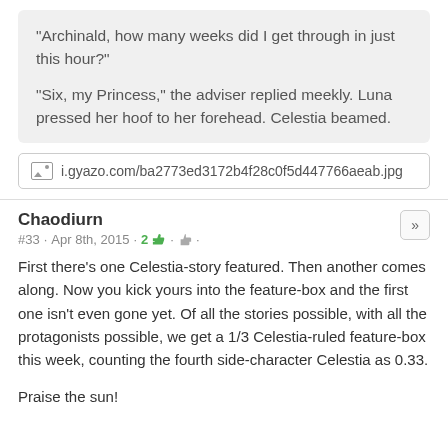"Archinald, how many weeks did I get through in just this hour?"

"Six, my Princess," the adviser replied meekly. Luna pressed her hoof to her forehead. Celestia beamed.
i.gyazo.com/ba2773ed3172b4f28c0f5d447766aeab.jpg
Chaodiurn
#33 · Apr 8th, 2015 · 2
First there's one Celestia-story featured. Then another comes along. Now you kick yours into the feature-box and the first one isn't even gone yet. Of all the stories possible, with all the protagonists possible, we get a 1/3 Celestia-ruled feature-box this week, counting the fourth side-character Celestia as 0.33.

Praise the sun!